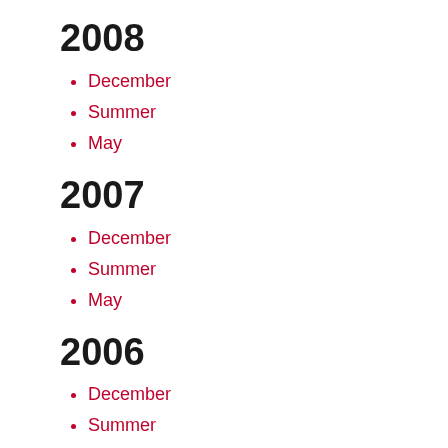2008
December
Summer
May
2007
December
Summer
May
2006
December
Summer
May
2005